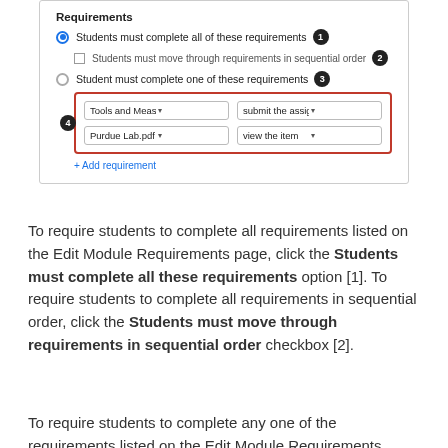[Figure (screenshot): Screenshot of Edit Module Requirements UI showing radio buttons for 'Students must complete all of these requirements' (selected, badge 1), checkbox 'Students must move through requirements in sequential order' (badge 2), radio 'Student must complete one of these requirements' (badge 3), and a red-bordered box (badge 4) with two dropdown rows: 'Tools and Measuremer' + 'submit the assignment', 'Purdue Lab.pdf' + 'view the item', and an '+ Add requirement' link.]
To require students to complete all requirements listed on the Edit Module Requirements page, click the Students must complete all these requirements option [1]. To require students to complete all requirements in sequential order, click the Students must move through requirements in sequential order checkbox [2].
To require students to complete any one of the requirements listed on the Edit Module Requirements